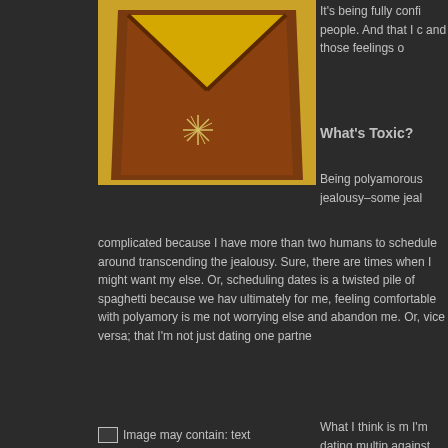[Figure (illustration): Artwork showing a reddish-brown textured surface with a yellow/gold border, featuring a snowflake-like star symbol in the center, on a gold background]
It's being fully confi people. And that I c and those feelings o
What's Toxic?
Being polyamorous jealousy–some jeal complicated because I have more than two humans to schedule around transcending the jealousy. Sure, there are times when I might want my else. Or, scheduling dates is a twisted pile of spaghetti because we ha ultimately for me, feeling comfortable with polyamory is me not worrying else and abandon me. Or, vice versa; that I'm not just dating one partn
[Figure (photo): Image may contain: text]
What I think is m I'm dating multip against the toxic poly folks that th people into it. In the first place.
I do, however, b that don't serve